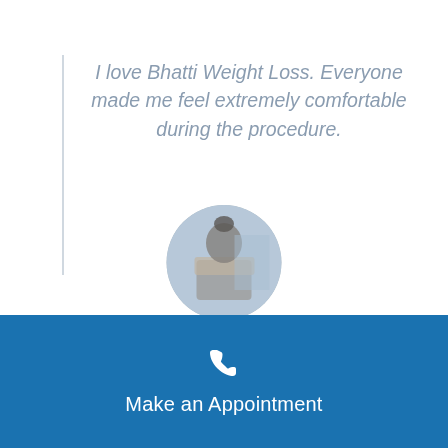I love Bhatti Weight Loss. Everyone made me feel extremely comfortable during the procedure.
[Figure (photo): Circular profile photo of a Gastric Sleeve Patient, showing a person seated, with a blue tinted overlay on the image.]
Gastric Sleeve Patient
Make an Appointment